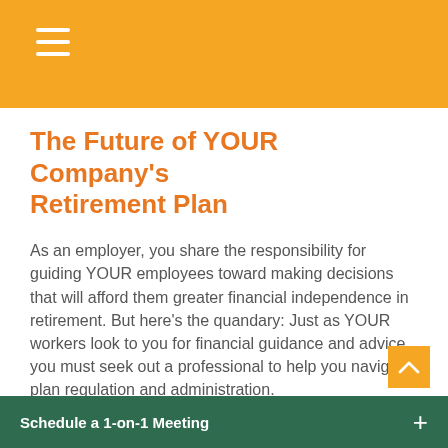The Future of YOUR Company's Retirement Plan
As an employer, you share the responsibility for guiding YOUR employees toward making decisions that will afford them greater financial independence in retirement. But here's the quandary: Just as YOUR workers look to you for financial guidance and advice, you must seek out a professional to help you navigate plan regulation and administration.
Do the following issues look familiar to YOUR retirement plan committee?
Schedule a 1-on-1 Meeting